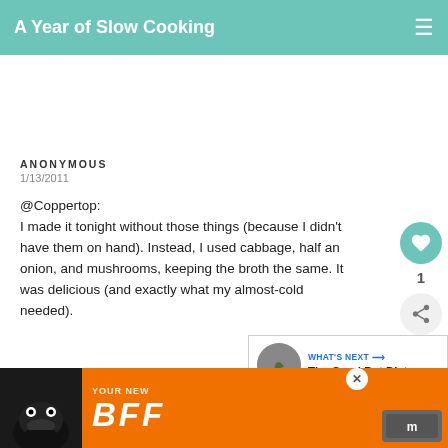A Year of Slow Cooking
ANONYMOUS
1/13/2011
@Coppertop:
I made it tonight without those things (because I didn't have them on hand). Instead, I used cabbage, half an onion, and mushrooms, keeping the broth the same. It was delicious (and exactly what my almost-cold needed).

Crockpot Lady, you're awesome! I had a couple of crockpots that I never used because like cream of something soup and my kid is allergic to milk. Now, I cook in them at least 4x per week, and at least once per week, I cook a family meals!
[Figure (screenshot): What's Next overlay showing The CrockPot Diet with a circular icon]